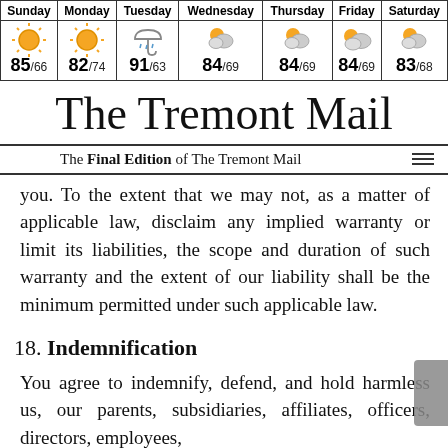[Figure (table-as-image): Weekly weather forecast table showing Sunday through Saturday with weather icons and high/low temperatures]
The Tremont Mail
The Final Edition of The Tremont Mail
you. To the extent that we may not, as a matter of applicable law, disclaim any implied warranty or limit its liabilities, the scope and duration of such warranty and the extent of our liability shall be the minimum permitted under such applicable law.
18. Indemnification
You agree to indemnify, defend, and hold harmless us, our parents, subsidiaries, affiliates, officers, directors, employees,